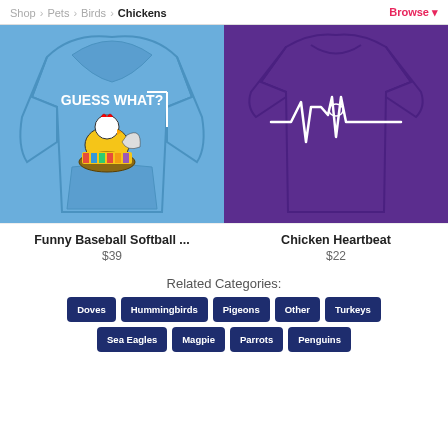Shop > Pets > Birds > Chickens   Browse
[Figure (photo): Blue hoodie with 'GUESS WHAT?' text and a chicken graphic on the front]
[Figure (photo): Purple t-shirt with a heartbeat/EKG line incorporating a chicken silhouette]
Funny Baseball Softball ...
$39
Chicken Heartbeat
$22
Related Categories:
Doves
Hummingbirds
Pigeons
Other
Turkeys
Sea Eagles
Magpie
Parrots
Penguins